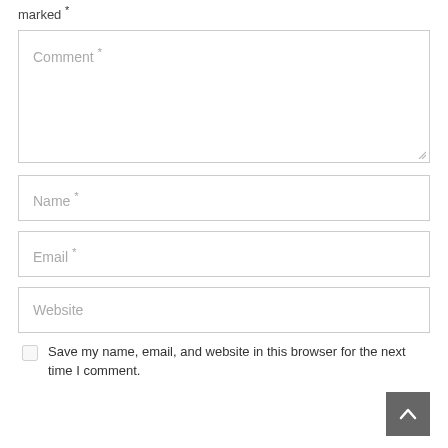marked *
Comment *
Name *
Email *
Website
Save my name, email, and website in this browser for the next time I comment.